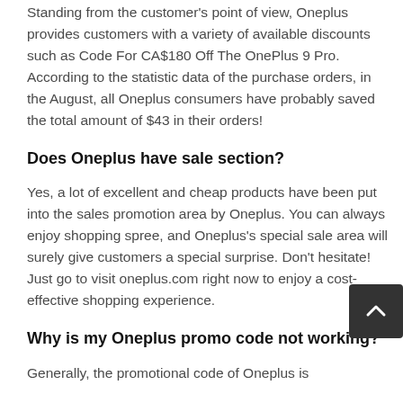Standing from the customer's point of view, Oneplus provides customers with a variety of available discounts such as Code For CA$180 Off The OnePlus 9 Pro. According to the statistic data of the purchase orders, in the August, all Oneplus consumers have probably saved the total amount of $43 in their orders!
Does Oneplus have sale section?
Yes, a lot of excellent and cheap products have been put into the sales promotion area by Oneplus. You can always enjoy shopping spree, and Oneplus's special sale area will surely give customers a special surprise. Don't hesitate! Just go to visit oneplus.com right now to enjoy a cost-effective shopping experience.
Why is my Oneplus promo code not working?
Generally, the promotional code of Oneplus is